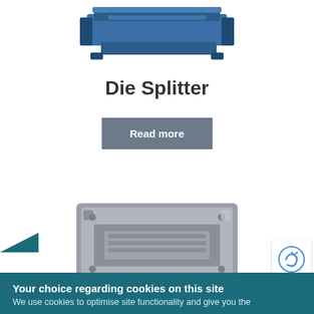[Figure (photo): Blue industrial die splitter machine photographed from above/side angle, top portion visible]
Die Splitter
Read more
[Figure (photo): Gray metallic die/mold component with recessed rectangular panels and mounting holes, top-down view]
Your choice regarding cookies on this site
We use cookies to optimise site functionality and give you the